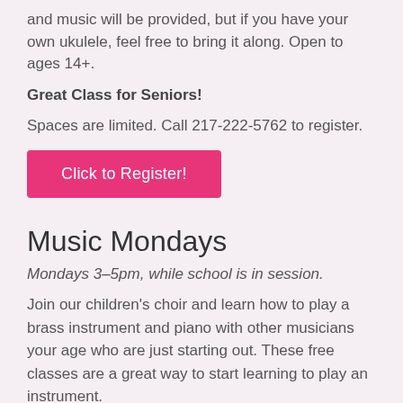and music will be provided, but if you have your own ukulele, feel free to bring it along. Open to ages 14+.
Great Class for Seniors!
Spaces are limited. Call 217-222-5762 to register.
[Figure (other): Pink/magenta button labeled 'Click to Register!']
Music Mondays
Mondays 3–5pm, while school is in session.
Join our children's choir and learn how to play a brass instrument and piano with other musicians your age who are just starting out. These free classes are a great way to start learning to play an instrument.
Ages 7+ ( with 'adult' front teeth)